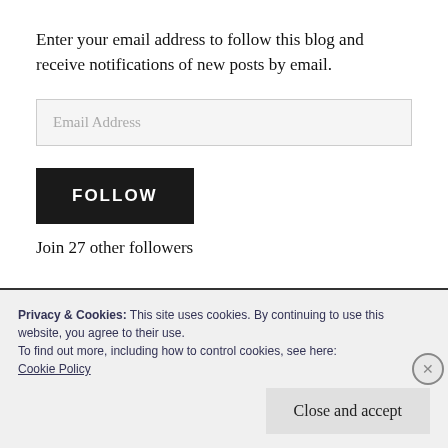Enter your email address to follow this blog and receive notifications of new posts by email.
[Figure (other): Email Address input field with light gray background and border]
[Figure (other): Black FOLLOW button with white bold text]
Join 27 other followers
Privacy & Cookies: This site uses cookies. By continuing to use this website, you agree to their use.
To find out more, including how to control cookies, see here:
Cookie Policy
Close and accept